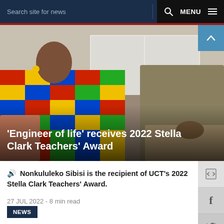Search site for news  MENU
[Figure (photo): Two people seated on a sofa. On the left is a woman in a colorful kente-patterned dress with yellow earrings, smiling. On the right is a person in an olive/grey shirt with hands clasped. White cabinet visible in background.]
'Engineer of life' receives 2022 Stella Clark Teachers' Award
Nonkululeko Sibisi is the recipient of UCT's 2022 Stella Clark Teachers' Award.
27 JUL 2022 - 8 min read
NEWS